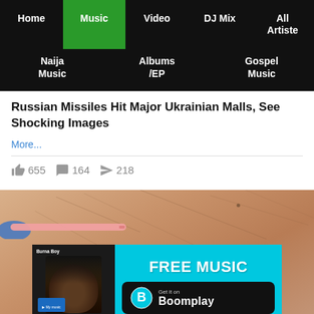Home | Music | Video | DJ Mix | All Artiste | Naija Music | Albums /EP | Gospel Music
Russian Missiles Hit Major Ukrainian Malls, See Shocking Images
More...
655  164  218
[Figure (photo): Medical/cosmetic procedure photo showing skin with an instrument, with a Boomplay FREE MUSIC advertisement overlay featuring Burna Boy]